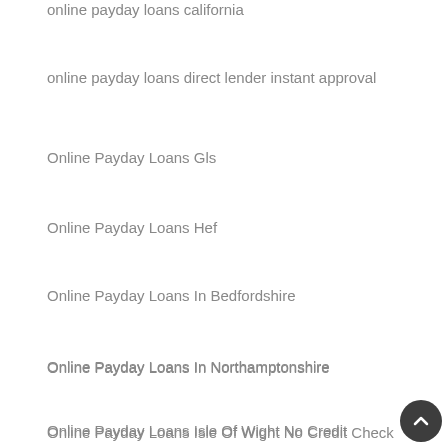online payday loans california
online payday loans direct lender instant approval
Online Payday Loans Gls
Online Payday Loans Hef
Online Payday Loans In Bedfordshire
Online Payday Loans In Northamptonshire
Online Payday Loans Isle Of Wight No Credit Check
Online Payday Loans Lin
online payday loans no credit
Online Payday Loans On
Online Payday Loans Staffordshire